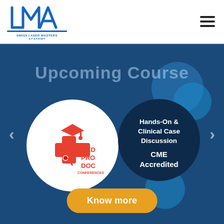[Figure (logo): Swiss Laser Masters Academy logo — blue geometric LMA monogram with text 'SWISS LASER MASTERS ACADEMY' below in blue]
[Figure (illustration): Hamburger menu icon (three horizontal black lines) in top-right corner]
[Figure (infographic): Promotional banner for MedProDoc Conferences upcoming course. Dark blue background. Large muted text: 'Upcoming Course'. Left navigation arrow. Right navigation arrow. White circle with MedProDoc Conferences logo (red medical cross with graduation cap and stethoscope, orange/red text MED PRO DOC CONFERENCES). Dark navy circle with blue accent circle behind it containing white text: 'Hands-On & Clinical Case Discussion' and 'CME Accredited'. Orange 'Know more' pill button at bottom.]